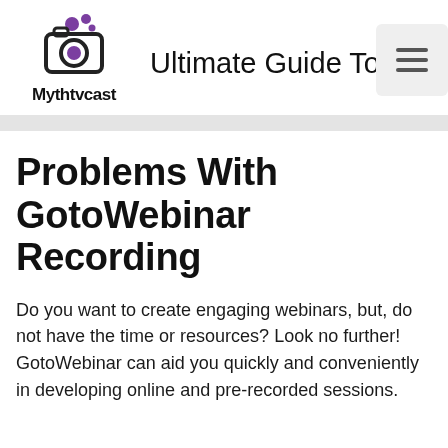[Figure (logo): Mythtvcast logo: camera icon with purple bubbles above, bold text 'Mythtvcast' below]
Ultimate Guide To W
[Figure (other): Hamburger menu button (three horizontal lines) in a light gray rounded rectangle]
Problems With GotoWebinar Recording
Do you want to create engaging webinars, but, do not have the time or resources? Look no further! GotoWebinar can aid you quickly and conveniently in developing online and pre-recorded sessions.